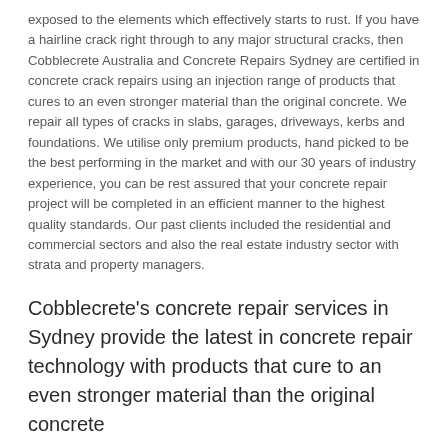exposed to the elements which effectively starts to rust. If you have a hairline crack right through to any major structural cracks, then Cobblecrete Australia and Concrete Repairs Sydney are certified in concrete crack repairs using an injection range of products that cures to an even stronger material than the original concrete. We repair all types of cracks in slabs, garages, driveways, kerbs and foundations. We utilise only premium products, hand picked to be the best performing in the market and with our 30 years of industry experience, you can be rest assured that your concrete repair project will be completed in an efficient manner to the highest quality standards. Our past clients included the residential and commercial sectors and also the real estate industry sector with strata and property managers.
Cobblecrete's concrete repair services in Sydney provide the latest in concrete repair technology with products that cure to an even stronger material than the original concrete